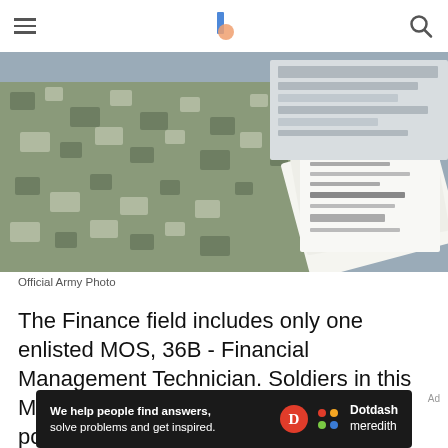Navigation header with hamburger menu, logo, and search icon
[Figure (photo): A soldier in US Army digital camouflage uniform viewed from behind, holding and reviewing documents/paperwork with forms visible in the background]
Official Army Photo
The Finance field includes only one enlisted MOS, 36B - Financial Management Technician. Soldiers in this MOS are responsible for receiving and posting funding
[Figure (other): Dotdash Meredith advertisement banner: 'We help people find answers, solve problems and get inspired.' with the Dotdash Meredith logo]